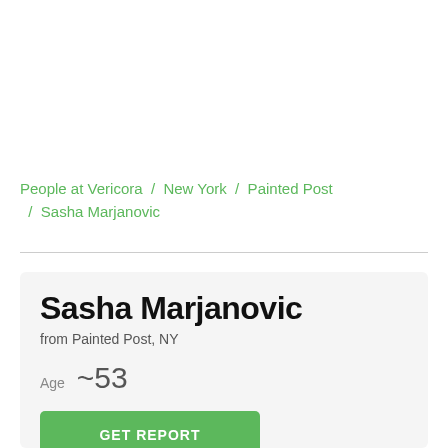People at Vericora / New York / Painted Post / Sasha Marjanovic
Sasha Marjanovic
from Painted Post, NY
Age ~53
GET REPORT